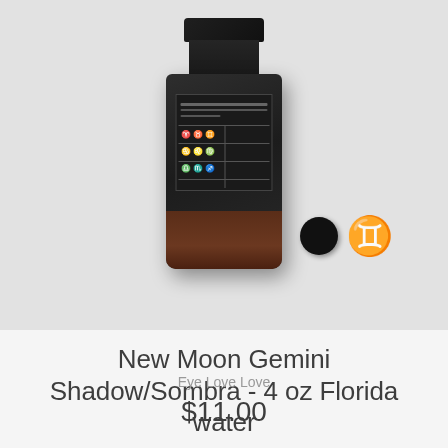[Figure (photo): Product photo of a dark glass bottle with black cap labeled 'New Moon Gemini Shadow/Sombra Florida water' with brown liquid visible at the bottom. Color swatch showing black circle and Gemini zodiac symbol are visible in the lower right area of the image.]
New Moon Gemini Shadow/Sombra - 4 oz Florida water
Eye Love Love
$11.00